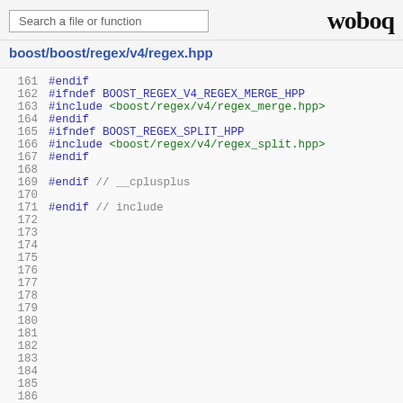woboq
boost/boost/regex/v4/regex.hpp
161  #endif
162  #ifndef BOOST_REGEX_V4_REGEX_MERGE_HPP
163  #include <boost/regex/v4/regex_merge.hpp>
164  #endif
165  #ifndef BOOST_REGEX_SPLIT_HPP
166  #include <boost/regex/v4/regex_split.hpp>
167  #endif
168
169  #endif  // __cplusplus
170
171  #endif  // include
172-186  (empty lines)